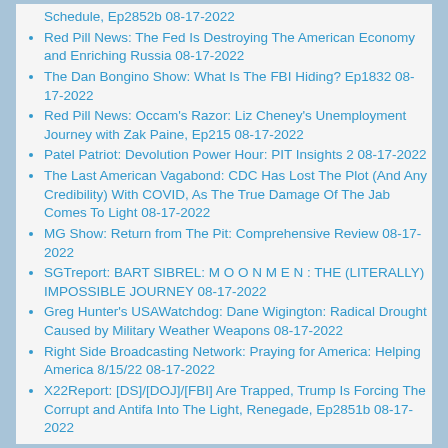Schedule, Ep2852b 08-17-2022
Red Pill News: The Fed Is Destroying The American Economy and Enriching Russia 08-17-2022
The Dan Bongino Show: What Is The FBI Hiding? Ep1832 08-17-2022
Red Pill News: Occam's Razor: Liz Cheney's Unemployment Journey with Zak Paine, Ep215 08-17-2022
Patel Patriot: Devolution Power Hour: PIT Insights 2 08-17-2022
The Last American Vagabond: CDC Has Lost The Plot (And Any Credibility) With COVID, As The True Damage Of The Jab Comes To Light 08-17-2022
MG Show: Return from The Pit: Comprehensive Review 08-17-2022
SGTreport: BART SIBREL: M O O N M E N : THE (LITERALLY) IMPOSSIBLE JOURNEY 08-17-2022
Greg Hunter's USAWatchdog: Dane Wigington: Radical Drought Caused by Military Weather Weapons 08-17-2022
Right Side Broadcasting Network: Praying for America: Helping America 8/15/22 08-17-2022
X22Report: [DS]/[DOJ]/[FBI] Are Trapped, Trump Is Forcing The Corrupt and Antifa Into The Light, Renegade, Ep2851b 08-17-2022
X22Report: [DS]/[DOJ]/[FBI] Are Trapped, Trump Is...